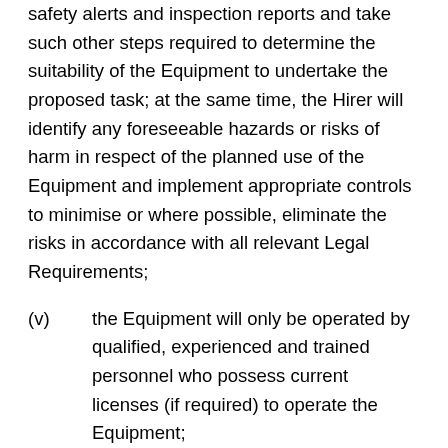safety alerts and inspection reports and take such other steps required to determine the suitability of the Equipment to undertake the proposed task; at the same time, the Hirer will identify any foreseeable hazards or risks of harm in respect of the planned use of the Equipment and implement appropriate controls to minimise or where possible, eliminate the risks in accordance with all relevant Legal Requirements;
(v) the Equipment will only be operated by qualified, experienced and trained personnel who possess current licenses (if required) to operate the Equipment;